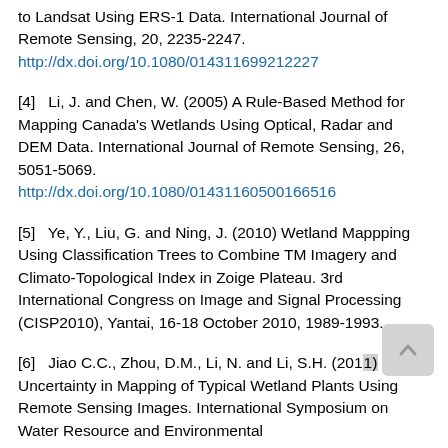to Landsat Using ERS-1 Data. International Journal of Remote Sensing, 20, 2235-2247. http://dx.doi.org/10.1080/014311699212227
[4]   Li, J. and Chen, W. (2005) A Rule-Based Method for Mapping Canada's Wetlands Using Optical, Radar and DEM Data. International Journal of Remote Sensing, 26, 5051-5069. http://dx.doi.org/10.1080/01431160500166516
[5]   Ye, Y., Liu, G. and Ning, J. (2010) Wetland Mappping Using Classification Trees to Combine TM Imagery and Climato-Topological Index in Zoige Plateau. 3rd International Congress on Image and Signal Processing (CISP2010), Yantai, 16-18 October 2010, 1989-1993.
[6]   Jiao C.C., Zhou, D.M., Li, N. and Li, S.H. (2011) Uncertainty in Mapping of Typical Wetland Plants Using Remote Sensing Images. International Symposium on Water Resource and Environmental